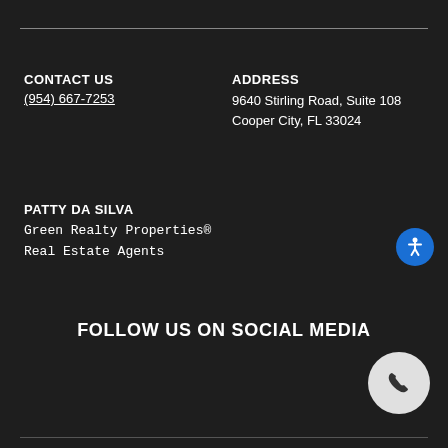CONTACT US
(954) 667-7253
ADDRESS
9640 Stirling Road, Suite 108
Cooper City, FL 33024
PATTY DA SILVA
Green Realty Properties®
Real Estate Agents
FOLLOW US ON SOCIAL MEDIA
[Figure (other): Accessibility icon button (blue circle with white person/accessibility symbol)]
[Figure (other): Phone call button (white/light gray circle with dark phone handset icon)]